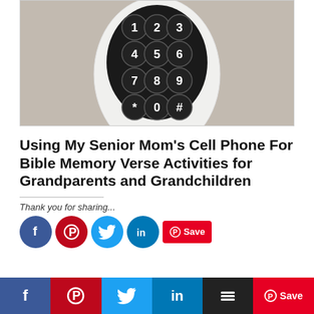[Figure (photo): A white senior-friendly cell phone with large numeric keypad buttons (1-9, *, 0, #) arranged in a grid on a light beige/gray background.]
Using My Senior Mom's Cell Phone For Bible Memory Verse Activities for Grandparents and Grandchildren
Thank you for sharing...
[Figure (infographic): Social sharing buttons row: Facebook (blue circle), Pinterest (red circle), Twitter (blue circle), LinkedIn (blue circle), Pinterest Save (red button). Below: a full-width social sharing bar with Facebook, Pinterest, Twitter, LinkedIn, Layers, and Save icons.]